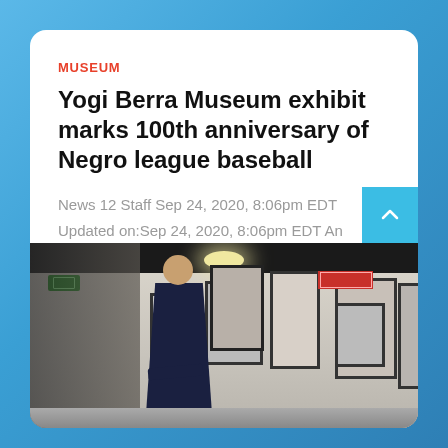MUSEUM
Yogi Berra Museum exhibit marks 100th anniversary of Negro league baseball
News 12 Staff Sep 24, 2020, 8:06pm EDT Updated on:Sep 24, 2020, 8:06pm EDT An exhibit inside the Yogi Berra Museum in Little Falls is...
[Figure (photo): Interior of the Yogi Berra Museum showing a man viewing framed black-and-white photographs and exhibits mounted on a white wall, with ceiling lighting visible above.]